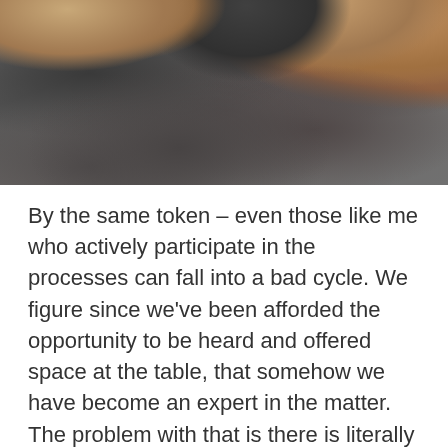[Figure (photo): Close-up photograph of hands working in mud or clay, dark grayish-brown textured surface visible.]
By the same token – even those like me who actively participate in the processes can fall into a bad cycle. We figure since we've been afforded the opportunity to be heard and offered space at the table, that somehow we have become an expert in the matter. The problem with that is there is literally NOBODY who's truly an expert in ALL aspects of conservation and advocacy. I am clearly no exception to this observation.
The issues are rarely simple, and require a working knowledge of not just the environment – but often an